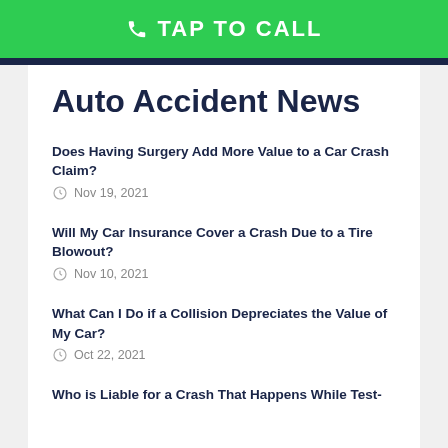TAP TO CALL
Auto Accident News
Does Having Surgery Add More Value to a Car Crash Claim?
Nov 19, 2021
Will My Car Insurance Cover a Crash Due to a Tire Blowout?
Nov 10, 2021
What Can I Do if a Collision Depreciates the Value of My Car?
Oct 22, 2021
Who is Liable for a Crash That Happens While Test-